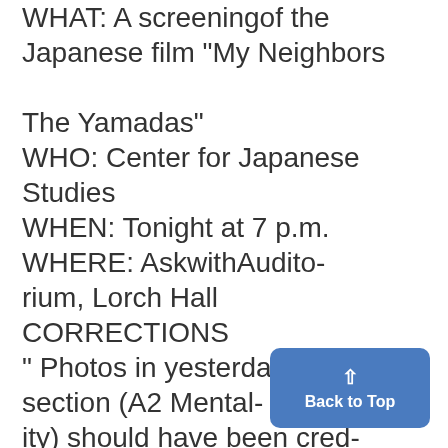WHAT: A screeningof the Japanese film "My Neighbors The Yamadas" WHO: Center for Japanese Studies WHEN: Tonight at 7 p.m. WHERE: AskwithAuditorium, Lorch Hall CORRECTIONS " Photos in yesterday's B-side section (A2 Mentality) should have been credited to Christine Hucal